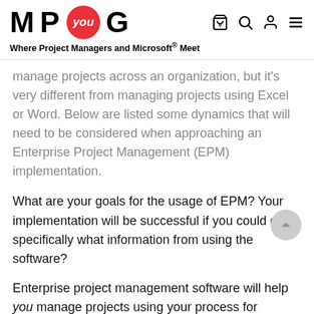M P you G — Where Project Managers and Microsoft® Meet
manage projects across an organization, but it's very different from managing projects using Excel or Word. Below are listed some dynamics that will need to be considered when approaching an Enterprise Project Management (EPM) implementation.
What are your goals for the usage of EPM? Your implementation will be successful if you could gain specifically what information from using the software?
Enterprise project management software will help you manage projects using your process for managing projects. EPM won't manage the projects for you.
Are your users trained in project management concepts